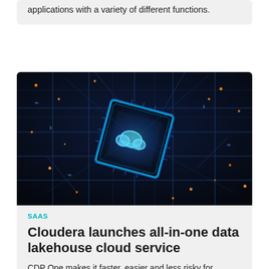applications with a variety of different functions.
[Figure (photo): Close-up of a dark blue circuit board with glowing blue light and cloud icon on a central chip, with orange LED lights scattered across the board.]
SAAS
Cloudera launches all-in-one data lakehouse cloud service
CDP One makes it faster, easier and less risky for businesses to move to the cloud and migrate existing workloads to a modern data